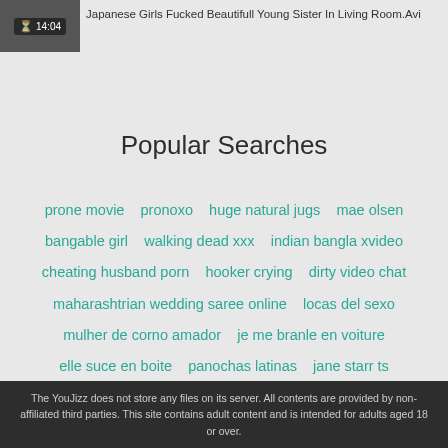[Figure (screenshot): Video thumbnail showing 14:04 duration timer overlay]
Japanese Girls Fucked Beautifull Young Sister In Living Room.Avi
Popular Searches
prone movie   pronoxo   huge natural jugs   mae olsen   bangable girl   walking dead xxx   indian bangla xvideo   cheating husband porn   hooker crying   dirty video chat   maharashtrian wedding saree online   locas del sexo   mulher de corno amador   je me branle en voiture   elle suce en boite   panochas latinas   jane starr ts
The YouJizz does not store any files on its server. All contents are provided by non-affiliated third parties. This site contains adult content and is intended for adults aged 18 or over.